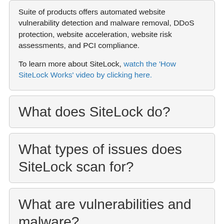Suite of products offers automated website vulnerability detection and malware removal, DDoS protection, website acceleration, website risk assessments, and PCI compliance.

To learn more about SiteLock, watch the 'How SiteLock Works' video by clicking here.
What does SiteLock do?
What types of issues does SiteLock scan for?
What are vulnerabilities and malware?
Will SiteLock impact website performance?